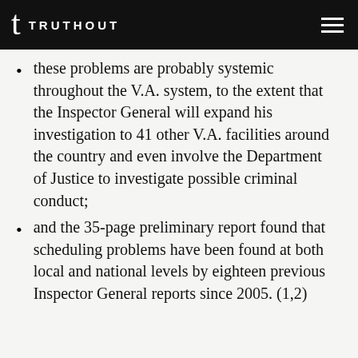TRUTHOUT
these problems are probably systemic throughout the V.A. system, to the extent that the Inspector General will expand his investigation to 41 other V.A. facilities around the country and even involve the Department of Justice to investigate possible criminal conduct;
and the 35-page preliminary report found that scheduling problems have been found at both local and national levels by eighteen previous Inspector General reports since 2005. (1,2)